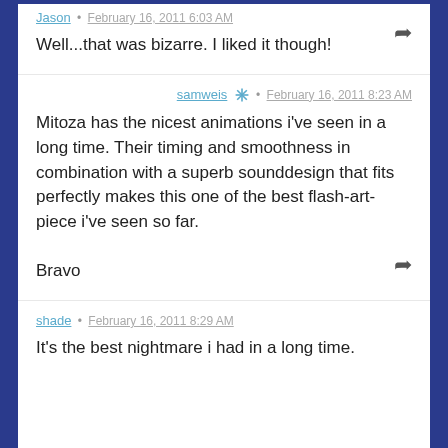Jason • February 16, 2011 6:03 AM
Well...that was bizarre. I liked it though!
samweis • February 16, 2011 8:23 AM
Mitoza has the nicest animations i've seen in a long time. Their timing and smoothness in combination with a superb sounddesign that fits perfectly makes this one of the best flash-art-piece i've seen so far.

Bravo
shade • February 16, 2011 8:29 AM
It's the best nightmare i had in a long time.